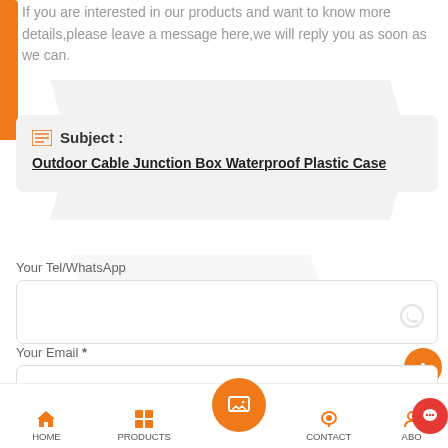If you are interested in our products and want to know more details,please leave a message here,we will reply you as soon as we can.
Subject : Outdoor Cable Junction Box Waterproof Plastic Case
Your Tel/WhatsApp
Your Email *
Write Your Question :
HOME  PRODUCTS  CONTACT  ABO